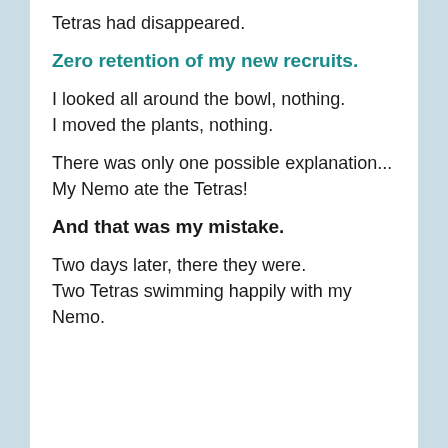Tetras had disappeared.
Zero retention of my new recruits.
I looked all around the bowl, nothing.
I moved the plants, nothing.
There was only one possible explanation...
My Nemo ate the Tetras!
And that was my mistake.
Two days later, there they were.
Two Tetras swimming happily with my Nemo.